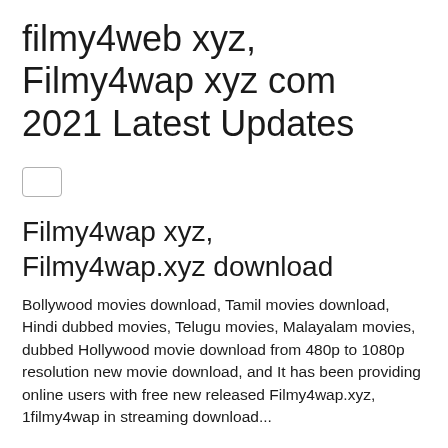filmy4web xyz, Filmy4wap xyz com 2021 Latest Updates
[Figure (other): Small empty checkbox/input element]
Filmy4wap xyz, Filmy4wap.xyz download
Bollywood movies download, Tamil movies download, Hindi dubbed movies, Telugu movies, Malayalam movies, dubbed Hollywood movie download from 480p to 1080p resolution new movie download, and It has been providing online users with free new released Filmy4wap.xyz, 1filmy4wap in streaming download...